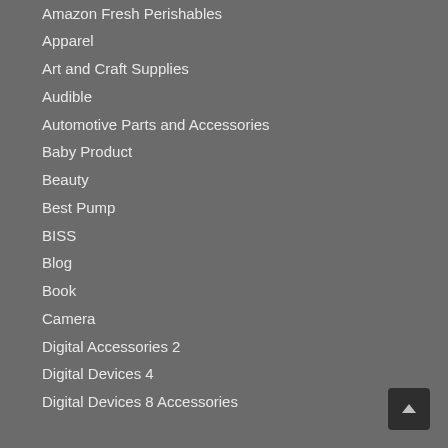Amazon Fresh Perishables
Apparel
Art and Craft Supplies
Audible
Automotive Parts and Accessories
Baby Product
Beauty
Best Pump
BISS
Blog
Book
Camera
Digital Accessories 2
Digital Devices 4
Digital Devices 8 Accessories